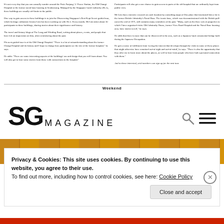It's not every day that you can casually wander around the Pasir Panjang 'A' Power Station, the Old Changi Hospital or the former naval base housing in Sembawang. Managed by the Singapore Land Authority (SLA), these buildings are usually off-limits to the public. One way to gain access to these buildings is to join the Discovering Singapore's Best Kept Secret guided tour, which heritage enthusiast Jerome Lim has been working on with SLA. Every month, Mr Lim takes about 30 participants to these buildings, sharing stories about their significance and history. The travel and history blogs at The Long and Winding Road, writing about places, events, and people that have left an impression on him, often reminiscing about the past. His next guided tour is of the Old Changi Hospital. "There is a lot of misunderstanding about the former Changi Hospital and its history and I hope to change how participants see the site of the former hospital," he says. He adds: "There are some interesting aspects of the buildings' use and design that you will learn about. You will also get to hear some stories from those with connections to the hospital."
Participants will also get a rare chance to gain access to parts of the old hospital that are ordinarily kept from public view. Mr Lim does extensive research on each location by consulting maps of One place that fascinated him a lot is the former British Admiralty's Naval Base. The iconic base, which was decommissioned with the British pull-out at the end of 1971, still contains many reminders of the past. "Many, such as the three sets of properties to which I have organised visits: Old Admiralty House, former View Road Hospital and the Naval Base housing area, have stories to tell," he says. He adds that there is more that can be discovered in the area, such as a Japanese-style ornamental bridge built during the Japanese Occupation. He gets a sense of fulfilment from 'seeing the interest that develops through the visits to some of these places that might otherwise have remained out-of-sight and out-of-mind', he says. "There is also the opportunity that they offer me to learn more about the places, as well to hear from people who have had a personal connection with them." And to those interested, avid members can sign up for the next tour.
Weekend
[Figure (logo): SG Magazine logo — large bold black 'SG' letters with 'MAGAZINE' in smaller spaced capitals beside them, plus a search icon and hamburger menu icon on the right]
[Figure (photo): Wooden/orange panelled architectural background strip]
Privacy & Cookies: This site uses cookies. By continuing to use this website, you agree to their use.
To find out more, including how to control cookies, see here: Cookie Policy
Close and accept